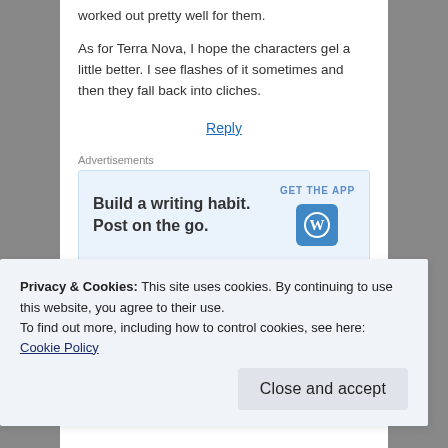worked out pretty well for them.
As for Terra Nova, I hope the characters gel a little better. I see flashes of it sometimes and then they fall back into cliches.
Reply
Advertisements
[Figure (screenshot): WordPress app advertisement banner: 'Build a writing habit. Post on the go.' with GET THE APP button and WordPress logo icon]
[Figure (logo): mizunogirl user avatar with running figure logo and username 'mizunogirl']
Privacy & Cookies: This site uses cookies. By continuing to use this website, you agree to their use.
To find out more, including how to control cookies, see here: Cookie Policy
Close and accept